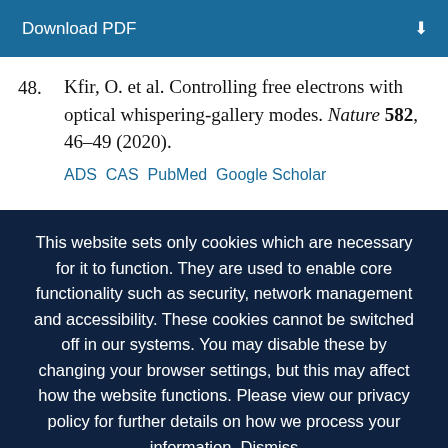Download PDF
48. Kfir, O. et al. Controlling free electrons with optical whispering-gallery modes. Nature 582, 46–49 (2020).
ADS  CAS  PubMed  Google Scholar
This website sets only cookies which are necessary for it to function. They are used to enable core functionality such as security, network management and accessibility. These cookies cannot be switched off in our systems. You may disable these by changing your browser settings, but this may affect how the website functions. Please view our privacy policy for further details on how we process your information. Dismiss